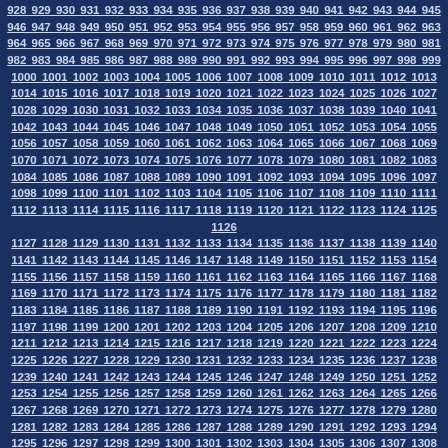Sequential numbers 928 through approximately 1350, displayed as underlined bold text on a dark navy blue background, arranged in rows.